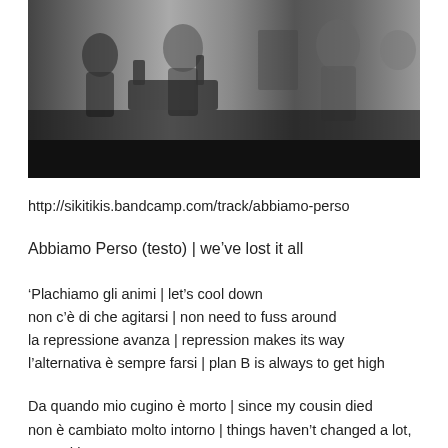[Figure (photo): Black and white photograph of musicians performing or recording in a studio/rehearsal setting, with figures visible around equipment. Dark bar at the bottom.]
http://sikitikis.bandcamp.com/track/abbiamo-perso
Abbiamo Perso (testo) | we've lost it all
'Plachiamo gli animi | let's cool down
non c'è di che agitarsi | non need to fuss around
la repressione avanza | repression makes its way
l'alternativa è sempre farsi | plan B is always to get high
Da quando mio cugino è morto | since my cousin died
non è cambiato molto intorno | things haven't changed a lot, around here
la nicotina mi fa stare meglio | nicotine makes me feel